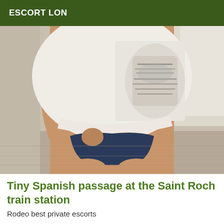ESCORT LON
[Figure (photo): Cropped photo of a woman's torso wearing a white graphic t-shirt and dark blue bikini bottoms, posed with hands on hips, indoor setting with wooden floor and window light]
Tiny Spanish passage at the Saint Roch train station
Rodeo best private escorts